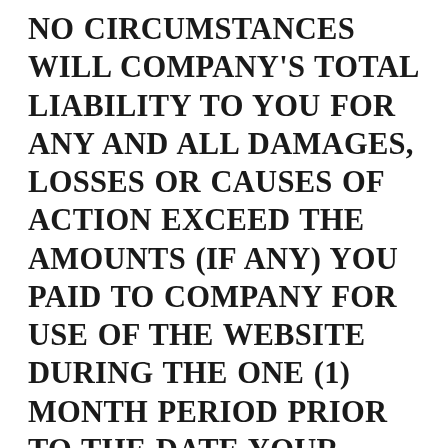NO CIRCUMSTANCES WILL COMPANY'S TOTAL LIABILITY TO YOU FOR ANY AND ALL DAMAGES, LOSSES OR CAUSES OF ACTION EXCEED THE AMOUNTS (IF ANY) YOU PAID TO COMPANY FOR USE OF THE WEBSITE DURING THE ONE (1) MONTH PERIOD PRIOR TO THE DATE YOUR CLAIM AROSE. TO THE EXTENT THAT ANY LAWSUIT IS PERMITTED UNDER THESE TERMS OF USE, YOU AGREE THAT ANY CLAIM YOU MAY HAVE ARISING OUT